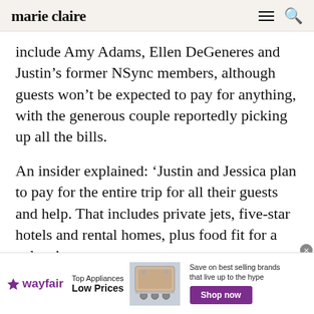marie claire
include Amy Adams, Ellen DeGeneres and Justin’s former NSync members, although guests won’t be expected to pay for anything, with the generous couple reportedly picking up all the bills.
An insider explained: ‘Justin and Jessica plan to pay for the entire trip for all their guests and help. That includes private jets, five-star hotels and rental homes, plus food fit for a palace’
[Figure (screenshot): Wayfair advertisement banner: Top Appliances Low Prices, with an image of a stove/range appliance, and a purple Shop now button. Text: Save on best selling brands that live up to the hype.]